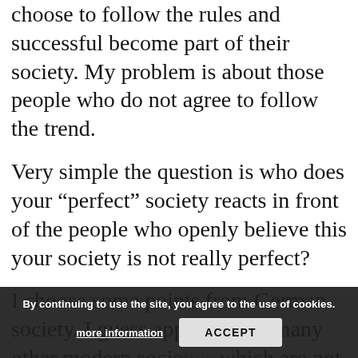choose to follow the rules and successful become part of their society. My problem is about those people who do not agree to follow the trend.
Very simple the question is who does your "perfect" society reacts in front of the people who openly believe this your society is not really perfect?
I choose some points from German society. I guess applicable to many other modern socie... which are not easy for everyone to follow:
By continuing to use the site, you agree to the use of cookies.